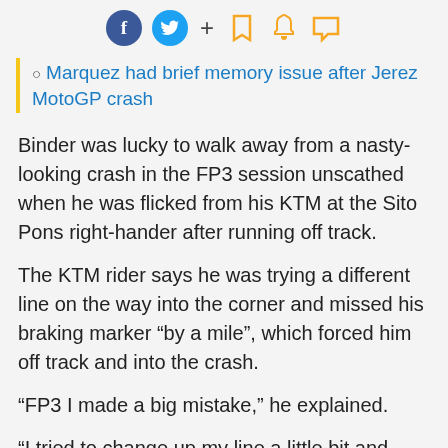[Figure (infographic): Social media sharing icons: Facebook (blue circle with f), Twitter (blue circle with bird), plus sign, bookmark icon, bell icon, speech bubble icon]
Marquez had brief memory issue after Jerez MotoGP crash
Binder was lucky to walk away from a nasty-looking crash in the FP3 session unscathed when he was flicked from his KTM at the Sito Pons right-hander after running off track.
The KTM rider says he was trying a different line on the way into the corner and missed his braking marker “by a mile”, which forced him off track and into the crash.
“FP3 I made a big mistake,” he explained.
“I tried to change up my line a little bit and when I did that my braking marker, I missed it by a mile.